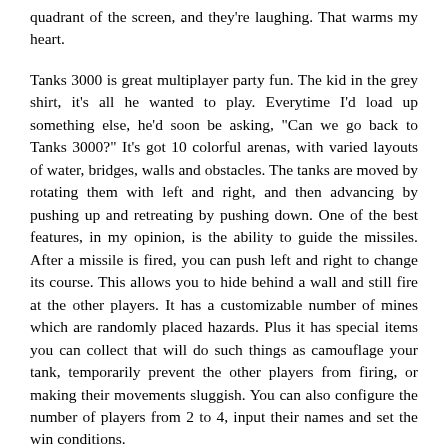quadrant of the screen, and they're laughing. That warms my heart.
Tanks 3000 is great multiplayer party fun. The kid in the grey shirt, it's all he wanted to play. Everytime I'd load up something else, he'd soon be asking, "Can we go back to Tanks 3000?" It's got 10 colorful arenas, with varied layouts of water, bridges, walls and obstacles. The tanks are moved by rotating them with left and right, and then advancing by pushing up and retreating by pushing down. One of the best features, in my opinion, is the ability to guide the missiles. After a missile is fired, you can push left and right to change its course. This allows you to hide behind a wall and still fire at the other players. It has a customizable number of mines which are randomly placed hazards. Plus it has special items you can collect that will do such things as camouflage your tank, temporarily prevent the other players from firing, or making their movements sluggish. You can also configure the number of players from 2 to 4, input their names and set the win conditions.